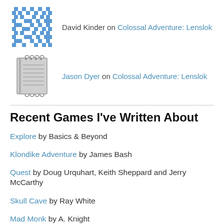[Figure (illustration): Blue pixelated avatar icon for David Kinder]
David Kinder on Colossal Adventure: Lenslok
[Figure (illustration): Gray/monochrome avatar icon for Jason Dyer showing a book or notepad]
Jason Dyer on Colossal Adventure: Lenslok
Recent Games I've Written About
Explore by Basics & Beyond
Klondike Adventure by James Bash
Quest by Doug Urquhart, Keith Sheppard and Jerry McCarthy
Skull Cave by Ray White
Mad Monk by A. Knight
The Queen of Phobos by William R. Crawford and Paul Berker